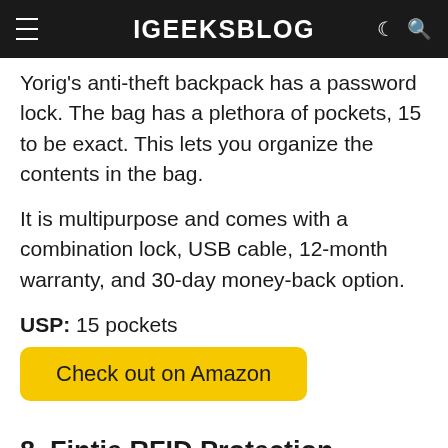iGEEKSBLOG
Yorig's anti-theft backpack has a password lock. The bag has a plethora of pockets, 15 to be exact. This lets you organize the contents in the bag.
It is multipurpose and comes with a combination lock, USB cable, 12-month warranty, and 30-day money-back option.
USP: 15 pockets
Check out on Amazon
8. Fintie RFID Protection Laptop Backpack